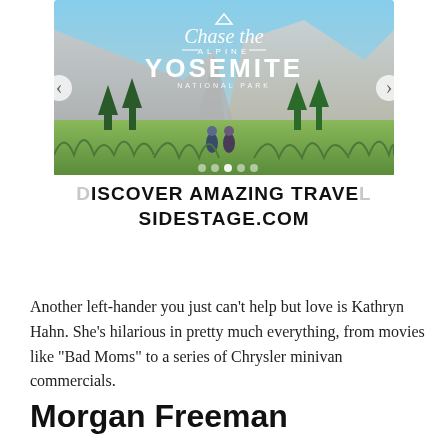[Figure (photo): Advertisement banner showing Yosemite National Park landscape with mountains and hikers, titled 'Chase the Alpine - Yosemite National Park' with navigation arrows and carousel dots]
DISCOVER AMAZING TRAVEL SIDESTAGE.COM
Another left-hander you just can't help but love is Kathryn Hahn. She's hilarious in pretty much everything, from movies like "Bad Moms" to a series of Chrysler minivan commercials.
Morgan Freeman